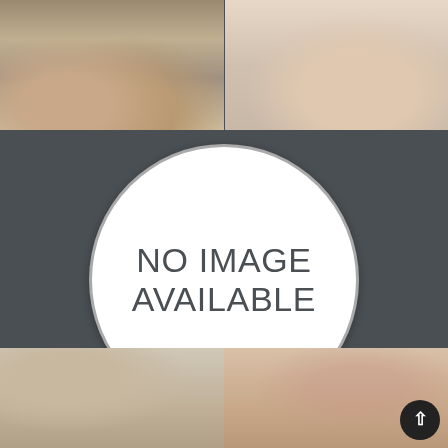[Figure (photo): Two photos side by side at the top: left photo shows bare feet on a tiled floor, right photo shows a person's legs on a light-colored surface]
[Figure (other): A large white circle with gray border on a dark gray background, containing the text 'NO IMAGE AVAILABLE']
[Figure (photo): Two photos side by side at the bottom: left photo shows a man with brown hair, right photo shows a woman with auburn hair raising her arms]